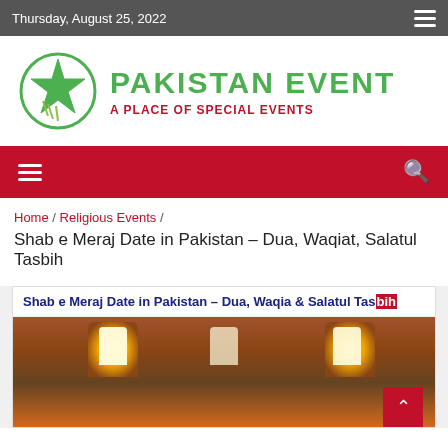Thursday, August 25, 2022
[Figure (logo): Pakistan Event logo with green star in circle and text PAKISTAN EVENT - A PLACE OF SPECIAL EVENTS]
navigation bar with hamburger menu and search icon
Home / Religious Events / Shab e Meraj Date in Pakistan – Dua, Waqiat, Salatul Tasbih
Shab e Meraj Date in Pakistan – Dua, Waqiat, Salatul Tasbih
[Figure (photo): Image header showing Shab e Meraj Date in Pakistan – Dua, Waqia & Salatul Tasbih over a mosque interior photo with glowing windows]